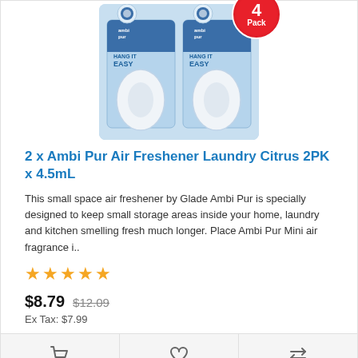[Figure (photo): Two Ambi Pur Air Freshener Laundry Citrus 2PK x 4.5mL packages with a red '4 Pack' badge overlaid in the top right area.]
2 x Ambi Pur Air Freshener Laundry Citrus 2PK x 4.5mL
This small space air freshener by Glade Ambi Pur is specially designed to keep small storage areas inside your home, laundry and kitchen smelling fresh much longer. Place Ambi Pur Mini air fragrance i..
★★★★★
$8.79  $12.09
Ex Tax: $7.99